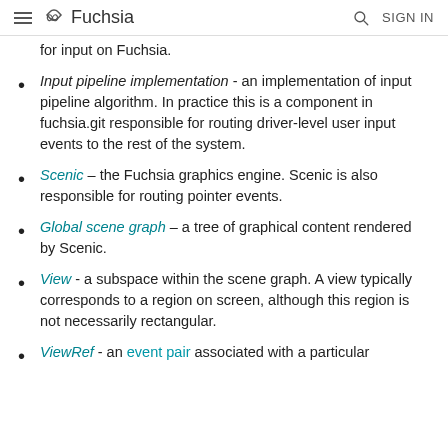Fuchsia  SIGN IN
for input on Fuchsia.
Input pipeline implementation - an implementation of input pipeline algorithm. In practice this is a component in fuchsia.git responsible for routing driver-level user input events to the rest of the system.
Scenic – the Fuchsia graphics engine. Scenic is also responsible for routing pointer events.
Global scene graph – a tree of graphical content rendered by Scenic.
View - a subspace within the scene graph. A view typically corresponds to a region on screen, although this region is not necessarily rectangular.
ViewRef - an event pair associated with a particular